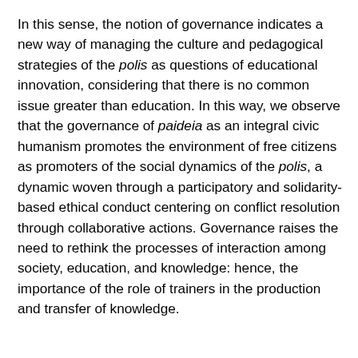In this sense, the notion of governance indicates a new way of managing the culture and pedagogical strategies of the polis as questions of educational innovation, considering that there is no common issue greater than education. In this way, we observe that the governance of paideia as an integral civic humanism promotes the environment of free citizens as promoters of the social dynamics of the polis, a dynamic woven through a participatory and solidarity-based ethical conduct centering on conflict resolution through collaborative actions. Governance raises the need to rethink the processes of interaction among society, education, and knowledge: hence, the importance of the role of trainers in the production and transfer of knowledge.